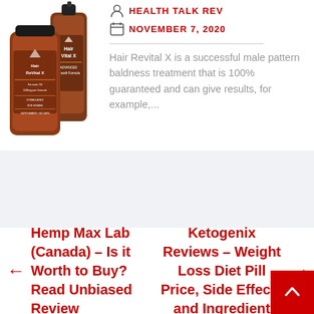[Figure (photo): Hair Vital X and Hair ReVital X product bottles - a spray and a supplement bottle with brown/amber color and branded labels]
HEALTH TALK REV
NOVEMBER 7, 2020
Hair Revital X is a successful male pattern baldness treatment that is 100% guaranteed and can give results, for example,...
Hemp Max Lab (Canada) – Is it Worth to Buy? Read Unbiased Review
Ketogenix Reviews – Weight Loss Diet Pill Price, Side Effects and Ingredients